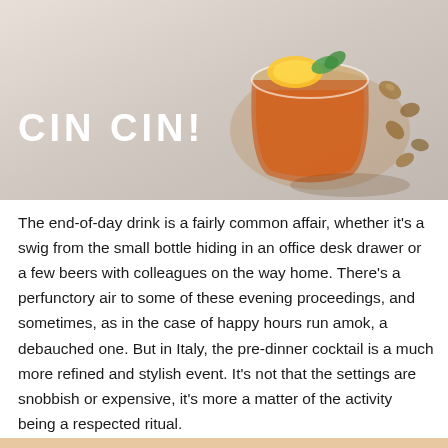[Figure (photo): Overhead photo of an orange/amber cocktail drink in a glass with lemon and mint garnish, surrounded by nuts/pistachios on a light grey/white linen surface. Bold white text overlay reads 'CIN CIN!' in the lower left of the image.]
The end-of-day drink is a fairly common affair, whether it's a swig from the small bottle hiding in an office desk drawer or a few beers with colleagues on the way home. There's a perfunctory air to some of these evening proceedings, and sometimes, as in the case of happy hours run amok, a debauched one. But in Italy, the pre-dinner cocktail is a much more refined and stylish event. It's not that the settings are snobbish or expensive, it's more a matter of the activity being a respected ritual.